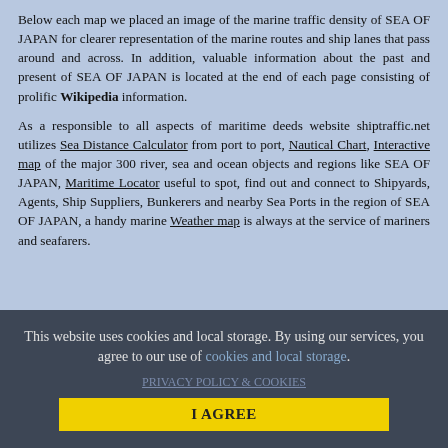Below each map we placed an image of the marine traffic density of SEA OF JAPAN for clearer representation of the marine routes and ship lanes that pass around and across. In addition, valuable information about the past and present of SEA OF JAPAN is located at the end of each page consisting of prolific Wikipedia information.
As a responsible to all aspects of maritime deeds website shiptraffic.net utilizes Sea Distance Calculator from port to port, Nautical Chart, Interactive map of the major 300 river, sea and ocean objects and regions like SEA OF JAPAN, Maritime Locator useful to spot, find out and connect to Shipyards, Agents, Ship Suppliers, Bunkerers and nearby Sea Ports in the region of SEA OF JAPAN, a handy marine Weather map is always at the service of mariners and seafarers.
This website uses cookies and local storage. By using our services, you agree to our use of cookies and local storage.
PRIVACY POLICY & COOKIES
I AGREE